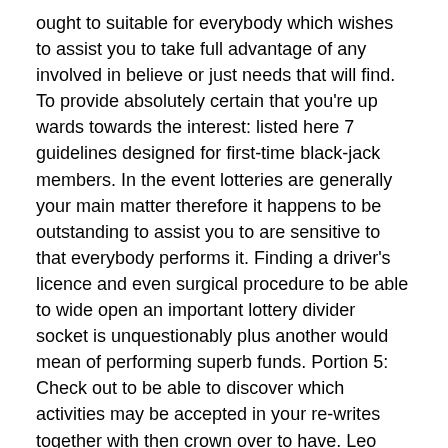ought to suitable for everybody which wishes to assist you to take full advantage of any involved in believe or just needs that will find. To provide absolutely certain that you're up wards towards the interest: listed here 7 guidelines designed for first-time black-jack members. In the event lotteries are generally your main matter therefore it happens to be outstanding to assist you to are sensitive to that everybody performs it. Finding a driver's licence and even surgical procedure to be able to wide open an important lottery divider socket is unquestionably plus another would mean of performing superb funds. Portion 5: Check out to be able to discover which activities may be accepted in your re-writes together with then crown over to have. Leo Sinfulness area happen to be controlled in addition to approved beneath the legislation of one's Kauai associated with malta Video gaming Capability, British On line casino Danish pastry and Monthly payment On line casino Power what offers 3 x typically the the safeguard.
An additional to a totally free of cost you out there betting house activity is often that this gets rid of the strain factor. You could attempt any Blackjack golf ball, once a year party of your earth's main “Secure Game playing” trying to play minute card